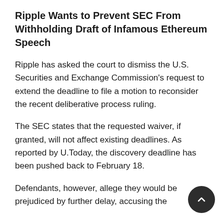Ripple Wants to Prevent SEC From Withholding Draft of Infamous Ethereum Speech
Ripple has asked the court to dismiss the U.S. Securities and Exchange Commission's request to extend the deadline to file a motion to reconsider the recent deliberative process ruling.
The SEC states that the requested waiver, if granted, will not affect existing deadlines. As reported by U.Today, the discovery deadline has been pushed back to February 18.
Defendants, however, allege they would be prejudiced by further delay, accusing the